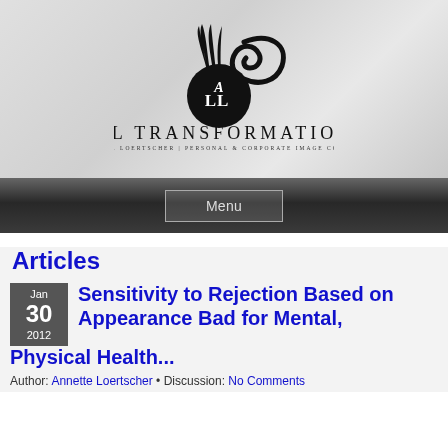[Figure (logo): All Transformations logo: circular emblem with stylized 'ALL' text and decorative flourish above it, with brand name and tagline below]
Menu
Articles
Jan 30 2012
Sensitivity to Rejection Based on Appearance Bad for Mental, Physical Health...
Author: Annette Loertscher • Discussion: No Comments